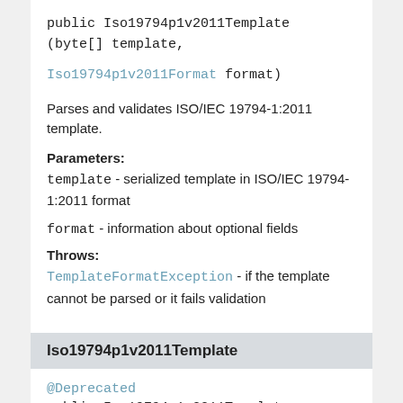public Iso19794p1v2011Template
(byte[] template,

Iso19794p1v2011Format format)
Parses and validates ISO/IEC 19794-1:2011 template.
Parameters:
template - serialized template in ISO/IEC 19794-1:2011 format
format - information about optional fields
Throws:
TemplateFormatException - if the template cannot be parsed or it fails validation
Iso19794p1v2011Template
@Deprecated
public Iso19794p1v2011Template